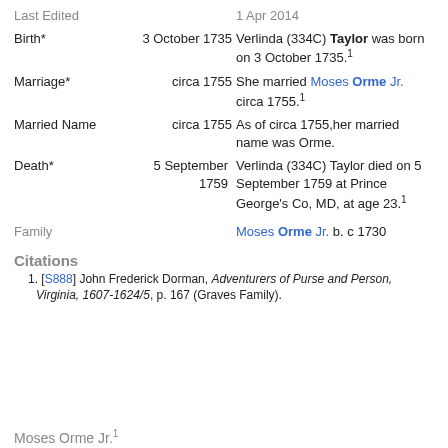| Event | Date | Description |
| --- | --- | --- |
| Last Edited |  | 1 Apr 2014 |
| Birth* | 3 October 1735 | Verlinda (334C) Taylor was born on 3 October 1735.1 |
| Marriage* | circa 1755 | She married Moses Orme Jr. circa 1755.1 |
| Married Name | circa 1755 | As of circa 1755,her married name was Orme. |
| Death* | 5 September 1759 | Verlinda (334C) Taylor died on 5 September 1759 at Prince George's Co, MD, at age 23.1 |
| Family |  | Moses Orme Jr. b. c 1730 |
Citations
1. [S888] John Frederick Dorman, Adventurers of Purse and Person, Virginia, 1607-1624/5, p. 167 (Graves Family).
Moses Orme Jr.1